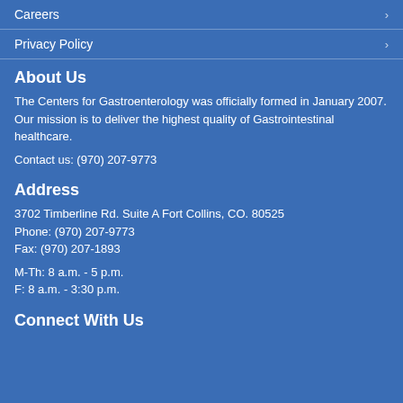Careers
Privacy Policy
About Us
The Centers for Gastroenterology was officially formed in January 2007. Our mission is to deliver the highest quality of Gastrointestinal healthcare.
Contact us: (970) 207-9773
Address
3702 Timberline Rd. Suite A Fort Collins, CO. 80525
Phone: (970) 207-9773
Fax: (970) 207-1893
M-Th: 8 a.m. - 5 p.m.
F: 8 a.m. - 3:30 p.m.
Connect With Us